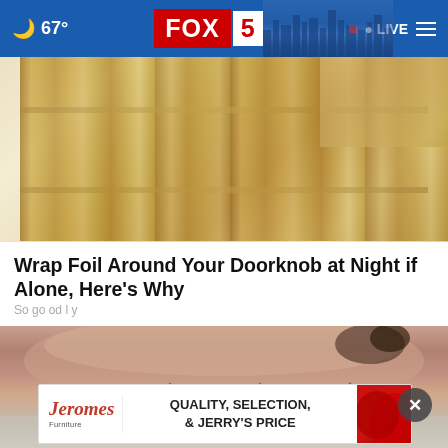67° FOX 5 LIVE
[Figure (photo): Close-up of a wooden door with vertical panel details, warm golden-brown tones]
Wrap Foil Around Your Doorknob at Night if Alone, Here's Why
Sogoodly
[Figure (photo): Close-up macro photo of a person's lower face showing stubble/beard on chin and upper lip area, skin texture visible]
[Figure (other): Jerome's Furniture advertisement banner: QUALITY, SELECTION, & JERRY'S PRICE]